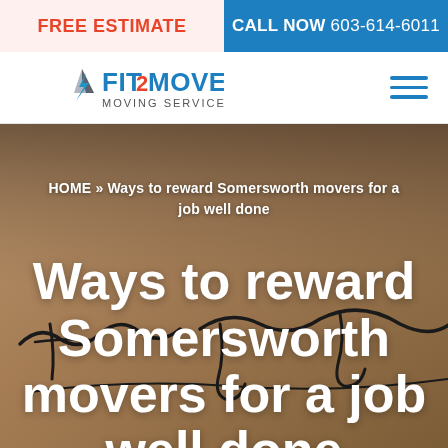FREE ESTIMATE
CALL NOW 603-614-6011
[Figure (logo): Fit2Move Moving Services logo with blue text and mountain graphic]
HOME » Ways to reward Somersworth movers for a job well done
Ways to reward Somersworth movers for a job well done
[Figure (photo): Brown cardboard background with cursive handwritten 'thank you' text]